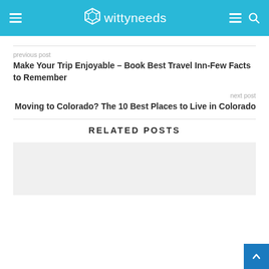wittyneeds
previous post
Make Your Trip Enjoyable – Book Best Travel Inn-Few Facts to Remember
next post
Moving to Colorado? The 10 Best Places to Live in Colorado
RELATED POSTS
[Figure (photo): Gray placeholder image box for related post]